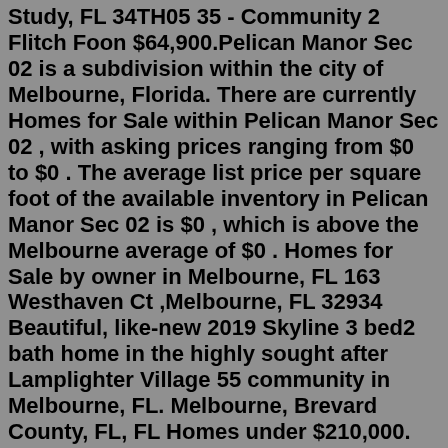Study, FL 34TH05 35 - Community 2 Flitch Foon $64,900.Pelican Manor Sec 02 is a subdivision within the city of Melbourne, Florida. There are currently Homes for Sale within Pelican Manor Sec 02 , with asking prices ranging from $0 to $0 . The average list price per square foot of the available inventory in Pelican Manor Sec 02 is $0 , which is above the Melbourne average of $0 . Homes for Sale by owner in Melbourne, FL 163 Westhaven Ct ,Melbourne, FL 32934 Beautiful, like-new 2019 Skyline 3 bed2 bath home in the highly sought after Lamplighter Village 55 community in Melbourne, FL. Melbourne, Brevard County, FL, FL Homes under $210,000. Find 50 cheap houses, apartments for sale that you can buy right now!Check out 252 Melbourne, FL HUD homes for sale, which may include auction properties, for sale by owner, and more. Hot. 1 of 34 4 Beds, 3 Baths. West Melbourne, FL 32904 Rent To Own. 4 Beds, 2 Baths. Melbourne, FL 32934 Pre-Foreclosure (Lis Pendens) 4 Beds, 2 Baths. Melbourne, FL 32934 ...HUD Homes in Melbourne, FL. Check out 252